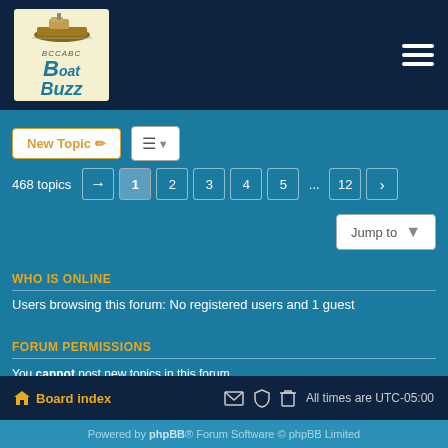[Figure (logo): BCCABC Boat Buzz forum logo with a classic boat illustration on cream background]
New Topic
468 topics  1 2 3 4 5 ... 12 >
Jump to
WHO IS ONLINE
Users browsing this forum: No registered users and 1 guest
FORUM PERMISSIONS
You cannot post new topics in this forum
You cannot reply to topics in this forum
You cannot edit your posts in this forum
You cannot delete your posts in this forum
You cannot post attachments in this forum
Board index   All times are UTC-05:00
Powered by phpBB® Forum Software © phpBB Limited